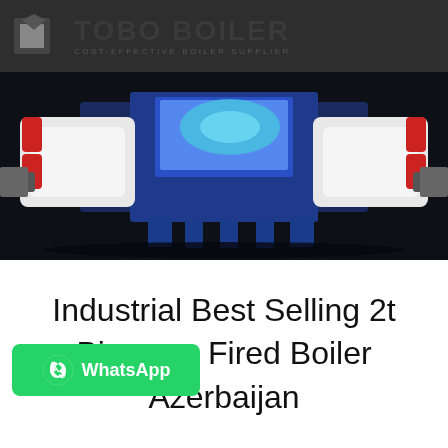[Figure (logo): TOBO BOILER logo with icon on dark grey background. Text reads TOBO BOILER with tagline COST-EFFECTIVE BOILER SUPPLIER]
[Figure (photo): Industrial biomass fired boiler unit in blue, white and red colors on dark background, showing mechanical components and structure]
Industrial Best Selling 2t Biomass Fired Boiler Azerbaijan
[Figure (other): WhatsApp button in green with phone icon and text WhatsApp]